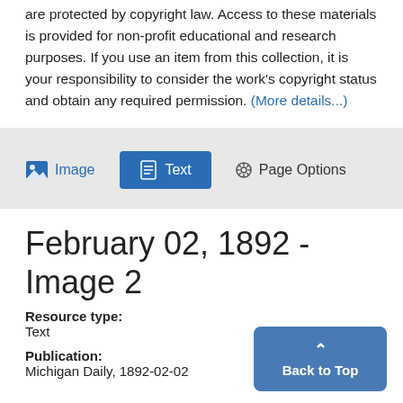are protected by copyright law. Access to these materials is provided for non-profit educational and research purposes. If you use an item from this collection, it is your responsibility to consider the work's copyright status and obtain any required permission. (More details...)
[Figure (screenshot): Toolbar with Image, Text (active/highlighted), and Page Options buttons on a light grey background]
February 02, 1892 - Image 2
Resource type:
Text
Publication:
Michigan Daily, 1892-02-02